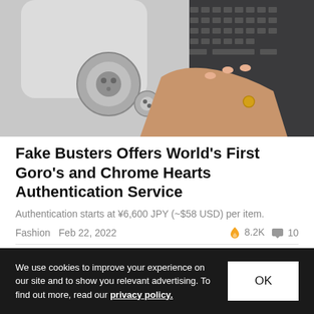[Figure (photo): Close-up of hands with white gloves holding metallic jewelry pieces near a laptop keyboard, inspecting authentication details.]
Fake Busters Offers World's First Goro's and Chrome Hearts Authentication Service
Authentication starts at ¥6,600 JPY (~$58 USD) per item.
Fashion   Feb 22, 2022   🔥 8.2K   💬 10
[Figure (photo): Partial second article thumbnail showing a dark tool or implement on a light background.]
We use cookies to improve your experience on our site and to show you relevant advertising. To find out more, read our privacy policy.